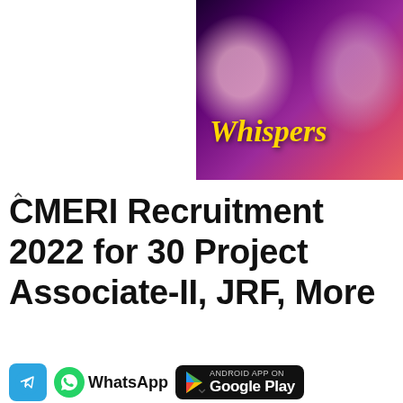[Figure (illustration): Colorful romantic/drama app advertisement banner with 'Whispers' text in yellow italic font on a dark purple/pink gradient background with illustrated characters]
CMERI Recruitment 2022 for 30 Project Associate-II, JRF, More
Free Job Alerts  Enter your email  Subscribe
[Figure (logo): Telegram icon (blue rounded square with paper plane), WhatsApp icon (green circle with phone), Google Play badge (Android App on Google Play)]